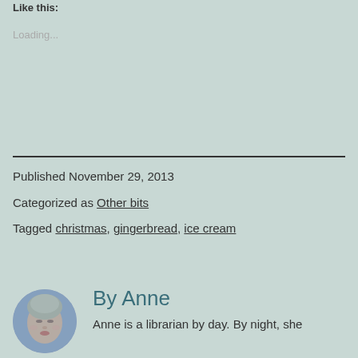Like this:
Loading...
Published November 29, 2013
Categorized as Other bits
Tagged christmas, gingerbread, ice cream
By Anne
Anne is a librarian by day. By night, she